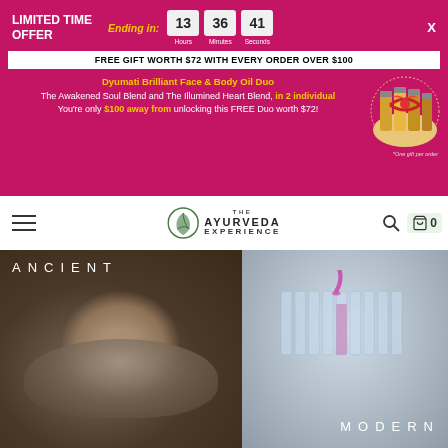LIMITED TIME OFFER
Ending in:
13 Hours  36 Minutes  41 Seconds
FREE GIFT WORTH $72 WITH EVERY ORDER OVER $100
Dyumati Brilliant Face & Body Oil Duo The Awakened Soul Blend and The Illumined Heart Blend, in 2 individual You're only $100 away from unlocking this FREE Duo worth $72!
[Figure (photo): Gift box with bottles of face/body oils tied with red bow]
*One gift per order
[Figure (logo): The Ayurveda Experience logo with leaf icon]
[Figure (photo): Left half: hand grinding herbs in stone mortar and pestle with text ANCIENT. Right half: laboratory vials with pink liquid being poured, with text MODERN]